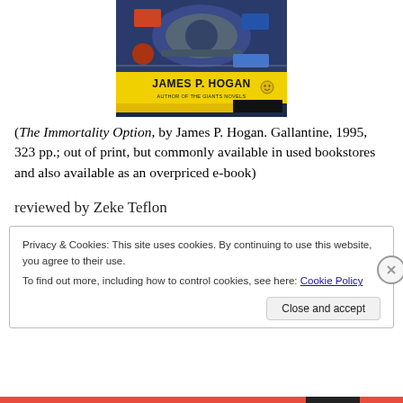[Figure (photo): Book cover for The Immortality Option by James P. Hogan, Ballantine, with yellow banner showing author name and 'Author of the Giants Novels']
(The Immortality Option, by James P. Hogan. Gallantine, 1995, 323 pp.; out of print, but commonly available in used bookstores and also available as an overpriced e-book)
reviewed by Zeke Teflon
Privacy & Cookies: This site uses cookies. By continuing to use this website, you agree to their use.
To find out more, including how to control cookies, see here: Cookie Policy